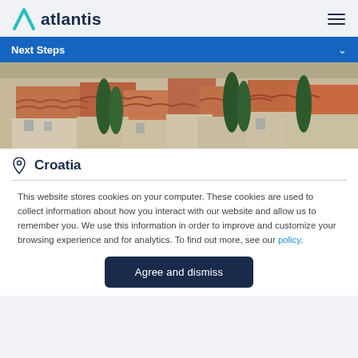atlantis
Next Steps
[Figure (photo): Aerial view of terracotta rooftops in Croatia, with green cypress trees scattered among stone buildings under bright daylight.]
Croatia
This website stores cookies on your computer. These cookies are used to collect information about how you interact with our website and allow us to remember you. We use this information in order to improve and customize your browsing experience and for analytics. To find out more, see our policy.
Agree and dismiss